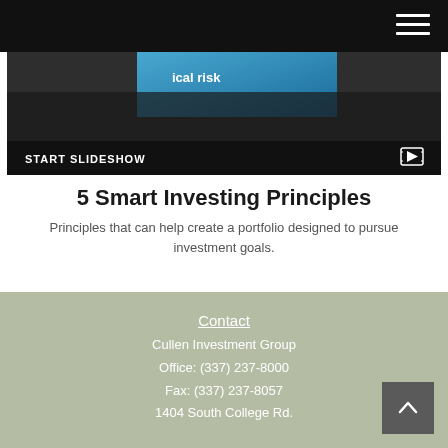[Figure (screenshot): Slideshow thumbnail showing a hand holding a tablet with 'ical risk' text visible on screen, with a 'START SLIDESHOW' button bar at bottom]
5 Smart Investing Principles
Principles that can help create a portfolio designed to pursue investment goals.
Contact
Cullen Investment Group
Office: (337) 237-8000
Fax: (337) 237-8057
1404 South College Rd.